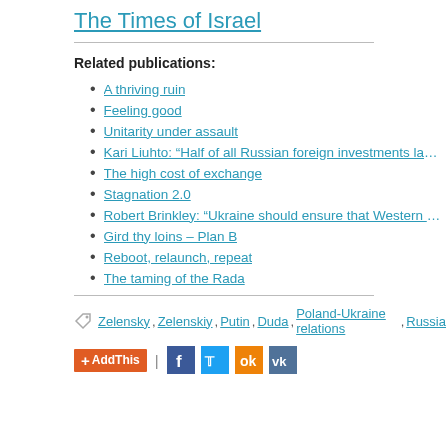The Times of Israel
Related publications:
A thriving ruin
Feeling good
Unitarity under assault
Kari Liuhto: “Half of all Russian foreign investments landed in o…
The high cost of exchange
Stagnation 2.0
Robert Brinkley: “Ukraine should ensure that Western countries…
Gird thy loins – Plan B
Reboot, relaunch, repeat
The taming of the Rada
Zelensky, Zelenskiy, Putin, Duda, Poland-Ukraine relations, Russia…
AddThis | [social share buttons: Facebook, Twitter, OK, VK]